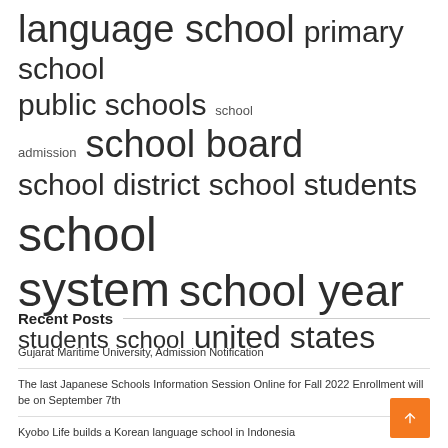[Figure (other): Tag cloud with education-related keywords in varying font sizes: language school, primary school, public schools, school admission, school board, school district, school students, school system, school year, students school, united states]
Recent Posts
Gujarat Maritime University, Admission Notification
The last Japanese Schools Information Session Online for Fall 2022 Enrollment will be on September 7th
Kyobo Life builds a Korean language school in Indonesia